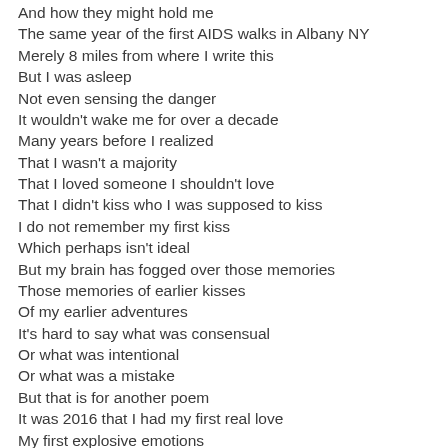And how they might hold me
The same year of the first AIDS walks in Albany NY
Merely 8 miles from where I write this
But I was asleep
Not even sensing the danger
It wouldn't wake me for over a decade
Many years before I realized
That I wasn't a majority
That I loved someone I shouldn't love
That I didn't kiss who I was supposed to kiss
I do not remember my first kiss
Which perhaps isn't ideal
But my brain has fogged over those memories
Those memories of earlier kisses
Of my earlier adventures
It's hard to say what was consensual
Or what was intentional
Or what was a mistake
But that is for another poem
It was 2016 that I had my first real love
My first explosive emotions
My first remembered consent